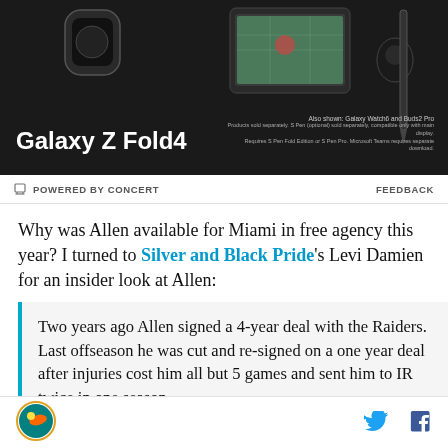[Figure (photo): Samsung Galaxy Z Fold4 advertisement banner with product image, Galaxy Watch6 and Buds2 Pro shown in background. Black background with product name and fine print.]
POWERED BY CONCERT    FEEDBACK
Why was Allen available for Miami in free agency this year? I turned to Silver and Black Pride's Levi Damien for an insider look at Allen:
Two years ago Allen signed a 4-year deal with the Raiders. Last offseason he was cut and re-signed on a one year deal after injuries cost him all but 5 games and sent him to IR twice in one season.

Last season, Allen backed up first round pick, Karl
[Figure (logo): Miami Dolphins logo - circular badge with dolphin]